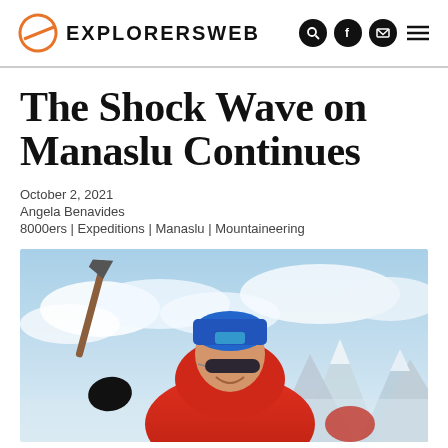EXPLORERSWEB
The Shock Wave on Manaslu Continues
October 2, 2021
Angela Benavides
8000ers | Expeditions | Manaslu | Mountaineering
[Figure (photo): Mountain climber at high altitude summit, wearing red jacket and blue hat, holding an ice axe, with snowy peaks and clouds in the background]